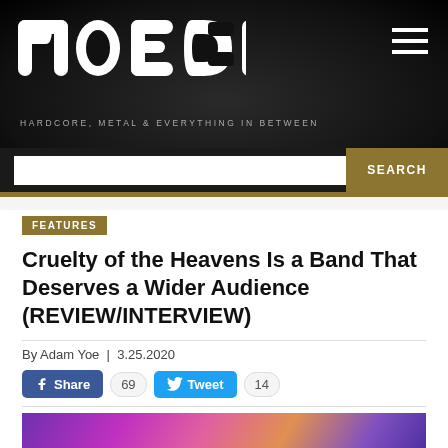NO ECHO — HARDCORE, METAL & EVERYTHING IN BETWEEN
[Figure (logo): No Echo logo in white bubble letters on dark textured background with hamburger menu icon top right and search bar]
FEATURES
Cruelty of the Heavens Is a Band That Deserves a Wider Audience (REVIEW/INTERVIEW)
By Adam Yoe | 3.25.2020
Share 69  Tweet 14
[Figure (photo): Partial photo of band with colorful purple/pink/orange background]